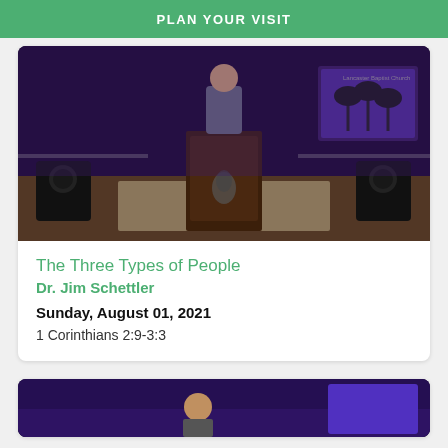PLAN YOUR VISIT
[Figure (photo): A pastor or speaker standing at a wooden pulpit on a church stage with purple lighting and palm tree graphic on a screen behind him. Speakers on either side of the stage.]
The Three Types of People
Dr. Jim Schettler
Sunday, August 01, 2021
1 Corinthians 2:9-3:3
[Figure (photo): Partial view of another sermon video thumbnail showing a speaker against a purple-lit background.]